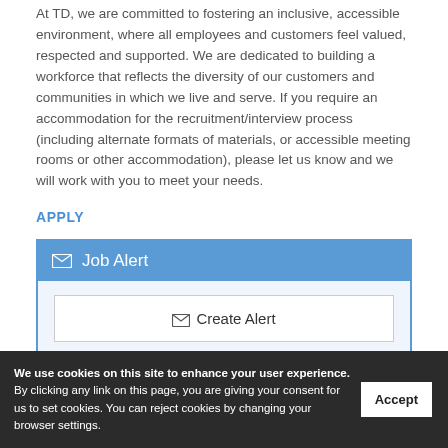At TD, we are committed to fostering an inclusive, accessible environment, where all employees and customers feel valued, respected and supported. We are dedicated to building a workforce that reflects the diversity of our customers and communities in which we live and serve. If you require an accommodation for the recruitment/interview process (including alternate formats of materials, or accessible meeting rooms or other accommodation), please let us know and we will work with you to meet your needs.
APPLY
Job Alert
Create Alert
Share Posting
We use cookies on this site to enhance your user experience. By clicking any link on this page, you are giving your consent for us to set cookies. You can reject cookies by changing your browser settings.